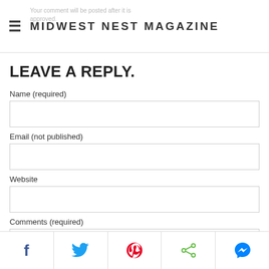MIDWEST NEST MAGAZINE
Your comment will be posted after it is approved.
LEAVE A REPLY.
Name (required)
Email (not published)
Website
Comments (required)
[Figure (infographic): Social share bar with Facebook, Twitter, Pinterest, Share, and Messenger icons]